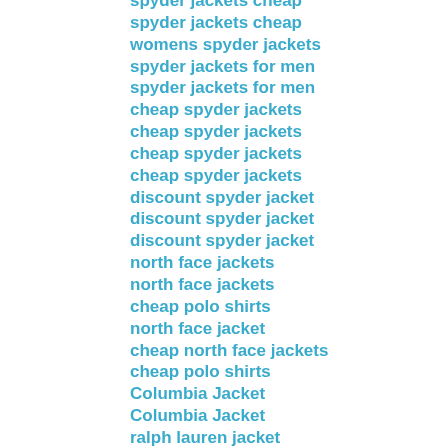spyder jackets cheap
spyder jackets cheap
womens spyder jackets
spyder jackets for men
spyder jackets for men
cheap spyder jackets
cheap spyder jackets
cheap spyder jackets
cheap spyder jackets
discount spyder jacket
discount spyder jacket
discount spyder jacket
north face jackets
north face jackets
cheap polo shirts
north face jacket
cheap north face jackets
cheap polo shirts
Columbia Jacket
Columbia Jacket
ralph lauren jacket
ralph lauren jacket
wholesale polo shirts